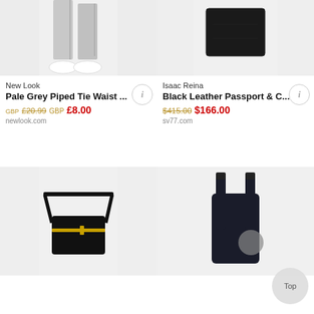[Figure (photo): Person wearing pale grey piped tie waist trousers with white sneakers, showing lower body only on white background]
New Look
Pale Grey Piped Tie Waist ...
GBP £20.99 GBP £8.00
newlook.com
[Figure (photo): Black leather passport and card holder/wallet on white background]
Isaac Reina
Black Leather Passport & C...
$415.00 $166.00
sv77.com
[Figure (photo): Black leather camera crossbody bag with gold zipper]
[Figure (photo): Dark navy/black nylon backpack shown from back angle]